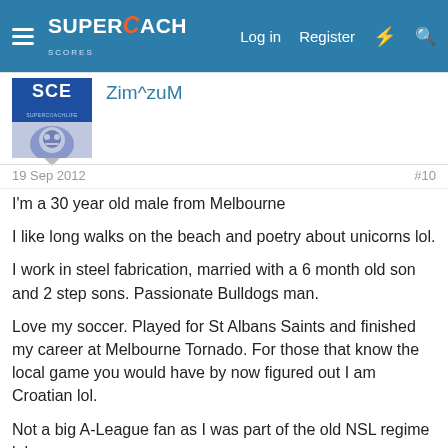SuperCoach Scores — Log in | Register
Zim^zuM
19 Sep 2012   #10
I'm a 30 year old male from Melbourne

I like long walks on the beach and poetry about unicorns lol.

I work in steel fabrication, married with a 6 month old son and 2 step sons. Passionate Bulldogs man.

Love my soccer. Played for St Albans Saints and finished my career at Melbourne Tornado. For those that know the local game you would have by now figured out I am Croatian lol.

Not a big A-League fan as I was part of the old NSL regime lol.

Also love heavy metal but my favourite band is not heavy (Pearl